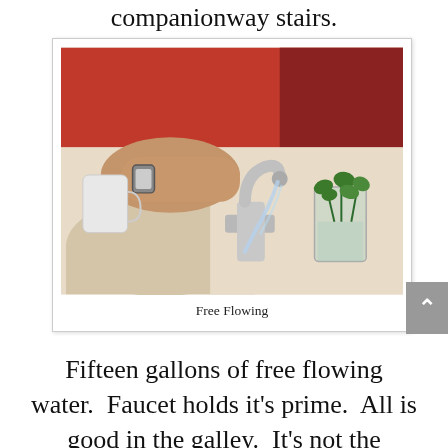companionway stairs.
[Figure (photo): A hand gripping a chrome faucet handle with water flowing from the spout into a white sink. A glass jar with green basil or herb plants in water sits to the right. Red objects visible in the background.]
Free Flowing
Fifteen gallons of free flowing water.  Faucet holds it's prime.  All is good in the galley.  It's not the